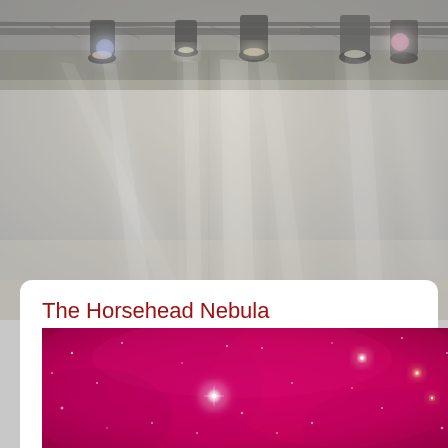[Figure (photo): Stage concert lighting photo showing multiple bright spotlights (white, blue, pink) shining down from rigging trusses onto a dark stage, creating dramatic light beams. The image has a faded, desaturated, slightly overexposed look with a grayish overlay.]
The Horsehead Nebula
[Figure (photo): Close-up photo of the Horsehead Nebula region showing a vivid magenta/pink nebula background with scattered bright white and yellow stars of varying sizes against the deep pink hydrogen-alpha emission nebula.]